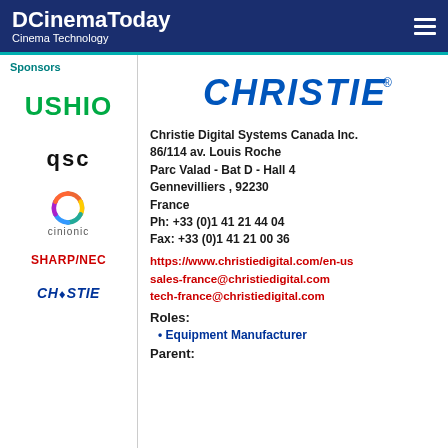DCinemaToday Cinema Technology
Sponsors
[Figure (logo): USHIO logo in green bold text]
[Figure (logo): QSC logo in black bold text]
[Figure (logo): cinionic logo with colorful circular icon]
[Figure (logo): SHARP/NEC logo in red bold text]
[Figure (logo): Christie logo in blue italic bold text]
[Figure (logo): CHRISTIE logo in blue bold italic text with registered trademark]
Christie Digital Systems Canada Inc.
86/114 av. Louis Roche
Parc Valad - Bat D - Hall 4
Gennevilliers , 92230
France
Ph: +33 (0)1 41 21 44 04
Fax: +33 (0)1 41 21 00 36
https://www.christiedigital.com/en-us
sales-france@christiedigital.com
tech-france@christiedigital.com
Roles:
Equipment Manufacturer
Parent: